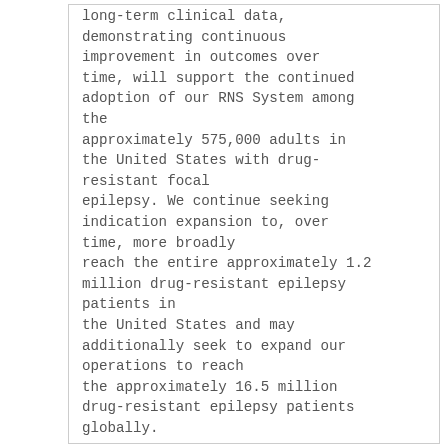long-term clinical data, demonstrating continuous improvement in outcomes over time, will support the continued adoption of our RNS System among the approximately 575,000 adults in the United States with drug-resistant focal epilepsy. We continue seeking indication expansion to, over time, more broadly reach the entire approximately 1.2 million drug-resistant epilepsy patients in the United States and may additionally seek to expand our operations to reach the approximately 16.5 million drug-resistant epilepsy patients globally.